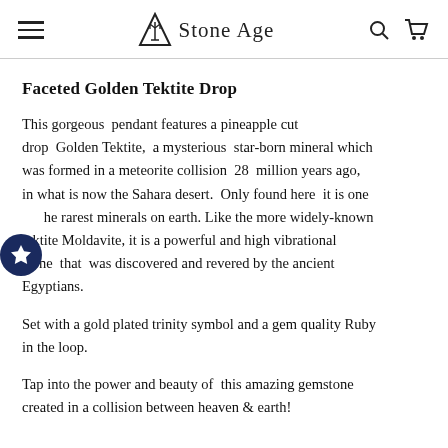Stone Age
Faceted Golden Tektite Drop
This gorgeous pendant features a pineapple cut drop Golden Tektite, a mysterious star-born mineral which was formed in a meteorite collision 28 million years ago, in what is now the Sahara desert. Only found here it is one of the rarest minerals on earth. Like the more widely-known tektite Moldavite, it is a powerful and high vibrational stone that was discovered and revered by the ancient Egyptians.
Set with a gold plated trinity symbol and a gem quality Ruby in the loop.
Tap into the power and beauty of this amazing gemstone created in a collision between heaven & earth!